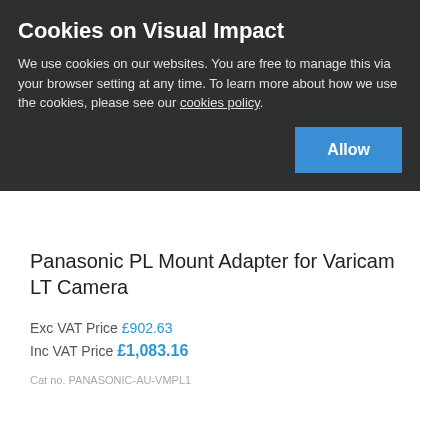Inc VAT Price £17,827.78
Cat no. PANASONIC-AU-V35LT1G
Cookies on Visual Impact
We use cookies on our websites. You are free to manage this via your browser setting at any time. To learn more about how we use the cookies, please see our cookies policy.
Allow
Panasonic PL Mount Adapter for Varicam LT Camera
Exc VAT Price £902.63
Inc VAT Price £1,083.16
Cat no. PANASONIC-AU-VMPL1
[Figure (photo): Product photo of Panasonic VariCam Pure CODEX 4K Raw Recorder camera]
Panasonic VariCam Pure CODEX 4K Raw Recorder
Exc VAT Price £20,829.78
Inc VAT Price £24,995.74
Cat no. PANASONIC-AU-VCXRAW2